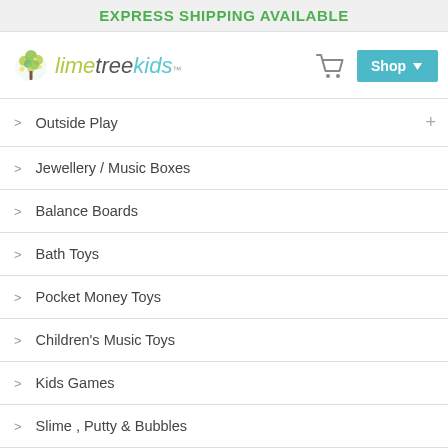EXPRESS SHIPPING AVAILABLE
[Figure (logo): Lime Tree Kids logo with tree illustration and stylized text 'lime tree kids']
Outside Play
Jewellery / Music Boxes
Balance Boards
Bath Toys
Pocket Money Toys
Children's Music Toys
Kids Games
Slime , Putty & Bubbles
Travel Toys / Games